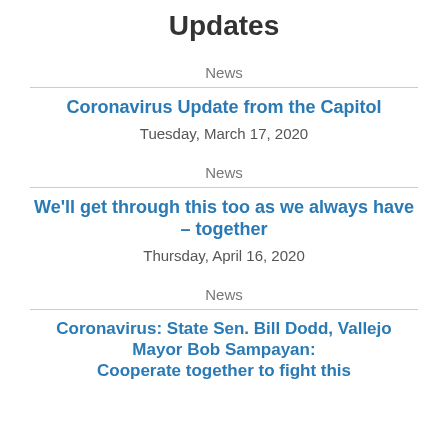Updates
News
Coronavirus Update from the Capitol
Tuesday, March 17, 2020
News
We'll get through this too as we always have – together
Thursday, April 16, 2020
News
Coronavirus: State Sen. Bill Dodd, Vallejo Mayor Bob Sampayan: